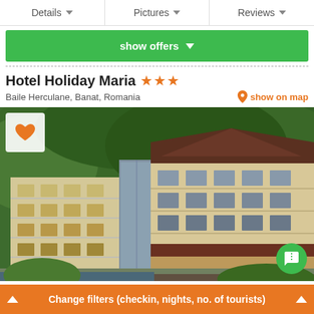Details | Pictures | Reviews
show offers
Hotel Holiday Maria ★★★
Baile Herculane, Banat, Romania
show on map
[Figure (photo): Exterior photo of Hotel Holiday Maria showing multi-story hotel buildings with balconies set against a forested hillside in Baile Herculane, Romania]
Change filters (checkin, nights, no. of tourists)